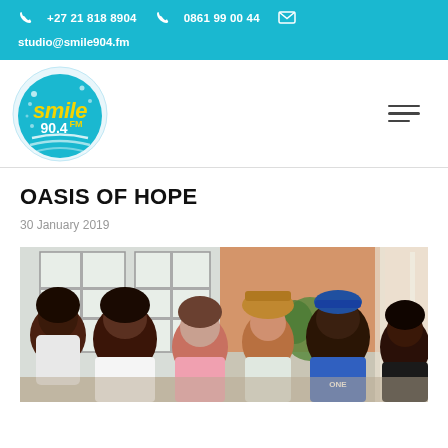+27 21 818 8904   0861 99 00 44   studio@smile904.fm
[Figure (logo): Smile 90.4 FM circular logo with blue background and yellow text]
OASIS OF HOPE
30 January 2019
[Figure (photo): Group of five people sitting together at a table, smiling and laughing indoors]